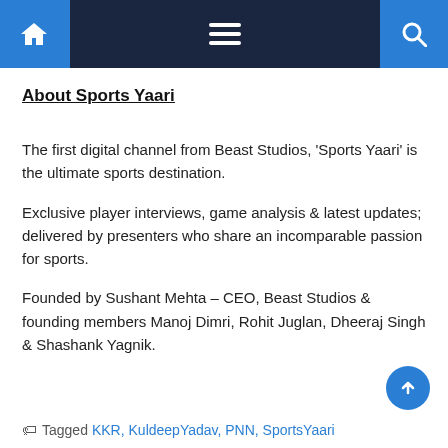Navigation bar with home, menu, and search icons
About Sports Yaari
The first digital channel from Beast Studios, ‘Sports Yaari’ is the ultimate sports destination.
Exclusive player interviews, game analysis & latest updates; delivered by presenters who share an incomparable passion for sports.
Founded by Sushant Mehta – CEO, Beast Studios & founding members Manoj Dimri, Rohit Juglan, Dheeraj Singh & Shashank Yagnik.
Tagged KKR, KuldeepYadav, PNN, SportsYaari